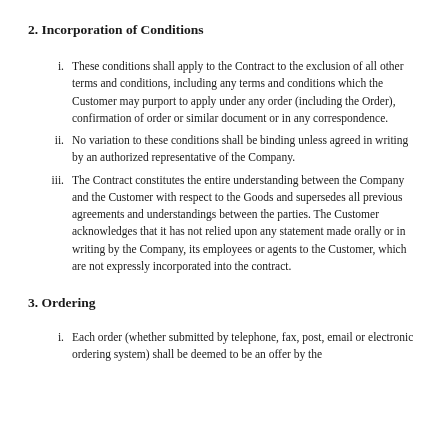2. Incorporation of Conditions
These conditions shall apply to the Contract to the exclusion of all other terms and conditions, including any terms and conditions which the Customer may purport to apply under any order (including the Order), confirmation of order or similar document or in any correspondence.
No variation to these conditions shall be binding unless agreed in writing by an authorized representative of the Company.
The Contract constitutes the entire understanding between the Company and the Customer with respect to the Goods and supersedes all previous agreements and understandings between the parties. The Customer acknowledges that it has not relied upon any statement made orally or in writing by the Company, its employees or agents to the Customer, which are not expressly incorporated into the contract.
3. Ordering
Each order (whether submitted by telephone, fax, post, email or electronic ordering system) shall be deemed to be an offer by the